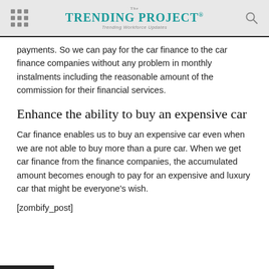The TRENDING PROJECT® — Trending Workforce Updates
payments. So we can pay for the car finance to the car finance companies without any problem in monthly instalments including the reasonable amount of the commission for their financial services.
Enhance the ability to buy an expensive car
Car finance enables us to buy an expensive car even when we are not able to buy more than a pure car. When we get car finance from the finance companies, the accumulated amount becomes enough to pay for an expensive and luxury car that might be everyone's wish.
[zombify_post]